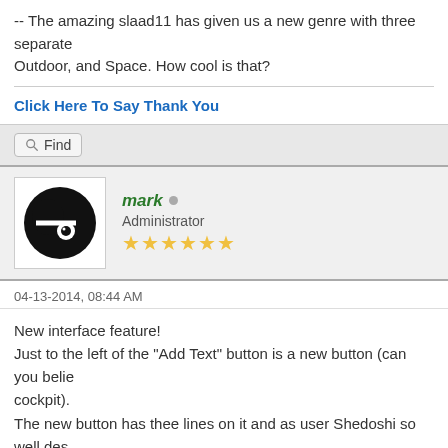-- The amazing slaad11 has given us a new genre with three separate Outdoor, and Space. How cool is that?
Click Here To Say Thank You
Find
mark • Administrator ★★★★★★
04-13-2014, 08:44 AM
New interface feature!
Just to the left of the "Add Text" button is a new button (can you believe cockpit).
The new button has thee lines on it and as user Shedoshi so well des
Or, maybe alternatively, "Mark's Adventure Horizontal Text Input T